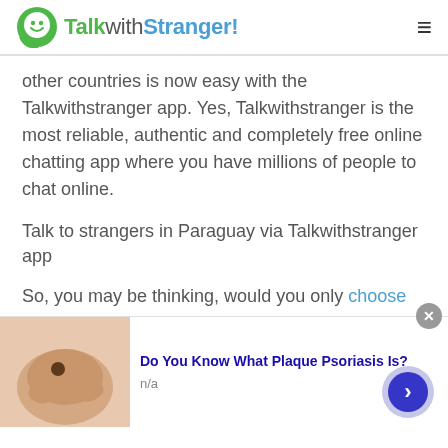TalkwithStranger!
other countries is now easy with the Talkwithstranger app. Yes, Talkwithstranger is the most reliable, authentic and completely free online chatting app where you have millions of people to chat online.
Talk to strangers in Paraguay via Talkwithstranger app
So, you may be thinking, would you only choose to talk to people of Paraguay? Well, it's not the case. Talkwithstranger country specific chat rooms are
[Figure (screenshot): Scroll-to-top button overlay with upward chevron arrow on light blue background]
[Figure (screenshot): Advertisement banner: Do You Know What Plaque Psoriasis Is? with skin photo, n/a label, close button, and blue arrow button]